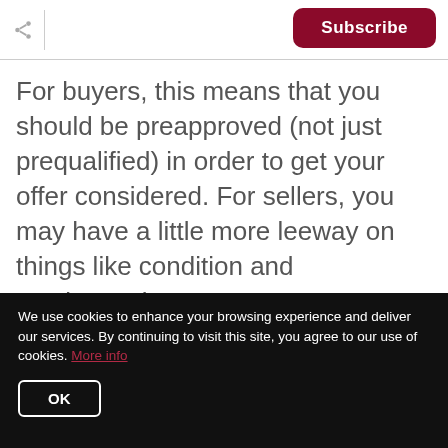Subscribe
For buyers, this means that you should be preapproved (not just prequalified) in order to get your offer considered. For sellers, you may have a little more leeway on things like condition and contingencies.
We use cookies to enhance your browsing experience and deliver our services. By continuing to visit this site, you agree to our use of cookies. More info
OK